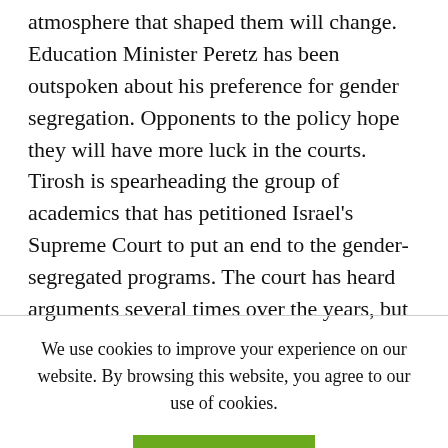atmosphere that shaped them will change. Education Minister Peretz has been outspoken about his preference for gender segregation. Opponents to the policy hope they will have more luck in the courts. Tirosh is spearheading the group of academics that has petitioned Israel's Supreme Court to put an end to the gender-segregated programs. The court has heard arguments several times over the years, but the case is still pending.
We use cookies to improve your experience on our website. By browsing this website, you agree to our use of cookies.